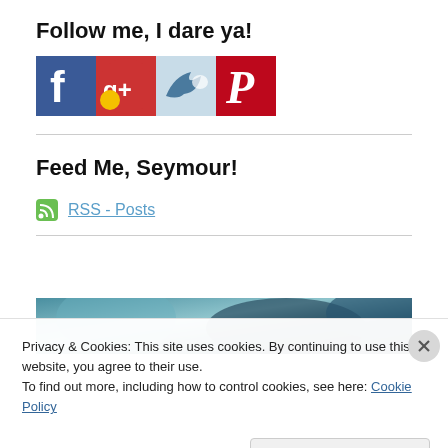Follow me, I dare ya!
[Figure (illustration): Row of social media icon buttons: Facebook (blue), Google+ (red/yellow), Twitter/bird (blue), Pinterest (red)]
Feed Me, Seymour!
RSS - Posts
[Figure (photo): Blurred teal/dark abstract banner image]
Privacy & Cookies: This site uses cookies. By continuing to use this website, you agree to their use.
To find out more, including how to control cookies, see here: Cookie Policy
Close and accept